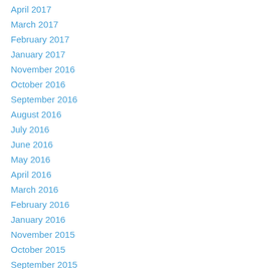April 2017
March 2017
February 2017
January 2017
November 2016
October 2016
September 2016
August 2016
July 2016
June 2016
May 2016
April 2016
March 2016
February 2016
January 2016
November 2015
October 2015
September 2015
August 2015
July 2015